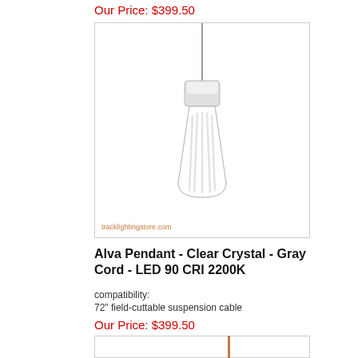Our Price: $399.50
[Figure (photo): Alva pendant light with clear crystal glass shade and gray suspension cord, chrome top mount, on white background. Watermark: tracklightingstore.com]
Alva Pendant - Clear Crystal - Gray Cord - LED 90 CRI 2200K
compatibility:
72" field-cuttable suspension cable
Our Price: $399.50
[Figure (other): Bottom portion of next product image, partially visible, with orange vertical divider line in center]